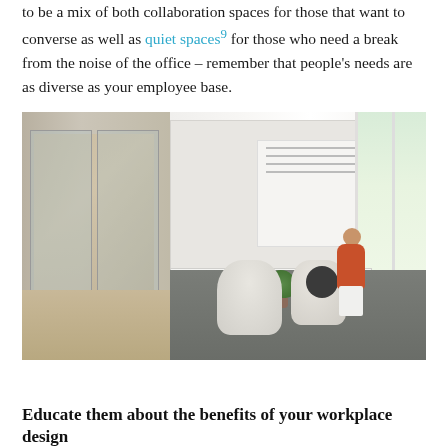to be a mix of both collaboration spaces for those that want to converse as well as quiet spaces⁹ for those who need a break from the noise of the office – remember that people’s needs are as diverse as your employee base.
[Figure (photo): Interior office photo showing a modern open workplace with glass partition walls on the left revealing a conference room, a large white wall panel with a bulletin board in the center, a white credenza, modern lounge chairs on a grey carpet, a person in a red outfit sitting on a chair using a laptop, a small round side table, and lush green trees visible through a large window on the right.]
Educate them about the benefits of your workplace design